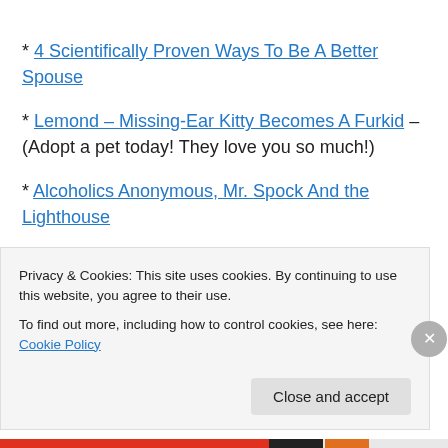* 4 Scientifically Proven Ways To Be A Better Spouse
* Lemond – Missing-Ear Kitty Becomes A Furkid – (Adopt a pet today! They love you so much!)
* Alcoholics Anonymous, Mr. Spock And the Lighthouse
* Spaghetti Toes: If Love Was Measured In Weight... – ( ❤ ❤ ❤ )
Privacy & Cookies: This site uses cookies. By continuing to use this website, you agree to their use. To find out more, including how to control cookies, see here: Cookie Policy
Close and accept